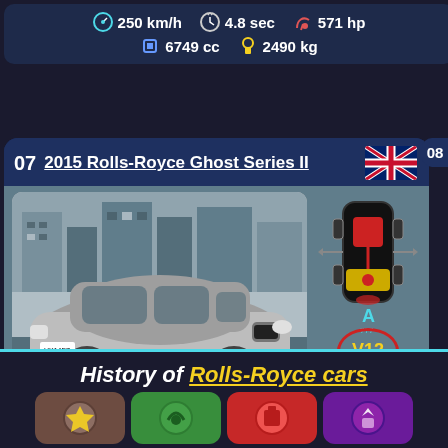[Figure (infographic): Top partial car card showing stats: 250 km/h, 4.8 sec, 571 hp, 6749 cc, 2490 kg]
250 km/h  4.8 sec  571 hp  6749 cc  2490 kg
[Figure (infographic): Card 07: 2015 Rolls-Royce Ghost Series II with UK flag, car photo, engine diagram (V12, Twin Turbo, AWD), timing 4.9 sec, stats: 250 km/h, 4.9 sec, 570 hp, 6592 cc, 2360 kg]
07  2015 Rolls-Royce Ghost Series II
4.9 sec
250 km/h  4.9 sec  570 hp  6592 cc  2360 kg
History of Rolls-Royce cars